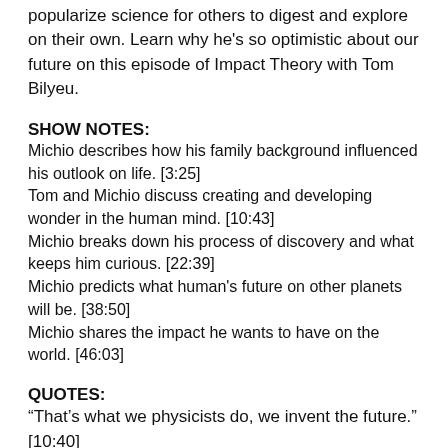popularize science for others to digest and explore on their own. Learn why he's so optimistic about our future on this episode of Impact Theory with Tom Bilyeu.
SHOW NOTES:
Michio describes how his family background influenced his outlook on life. [3:25]
Tom and Michio discuss creating and developing wonder in the human mind. [10:43]
Michio breaks down his process of discovery and what keeps him curious. [22:39]
Michio predicts what human's future on other planets will be. [38:50]
Michio shares the impact he wants to have on the world. [46:03]
QUOTES:
“That’s what we physicists do, we invent the future.” [10:40]